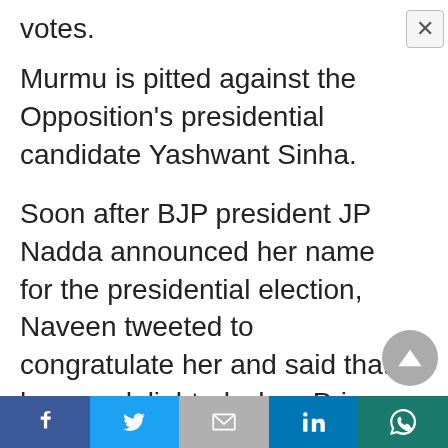votes.
Murmu is pitted against the Opposition’s presidential candidate Yashwant Sinha.
Soon after BJP president JP Nadda announced her name for the presidential election, Naveen tweeted to congratulate her and said that he was delighted when Prime Minister Narendra Modi discussed this with him. “It is indeed a proud moment for Odisha. I am sure Smt Murmu will set
Facebook | Twitter | Gmail | LinkedIn | WhatsApp